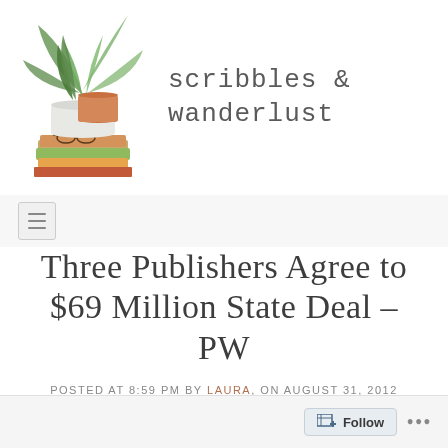[Figure (illustration): Watercolor illustration of potted plants (green leafy plants in white and terracotta pots) stacked on top of books with glasses, serving as blog logo]
scribbles & wanderlust
[Figure (other): Navigation menu bar with hamburger menu icon]
Three Publishers Agree to $69 Million State Deal – PW
Posted at 8:59 pm by Laura, on August 31, 2012
Follow ...